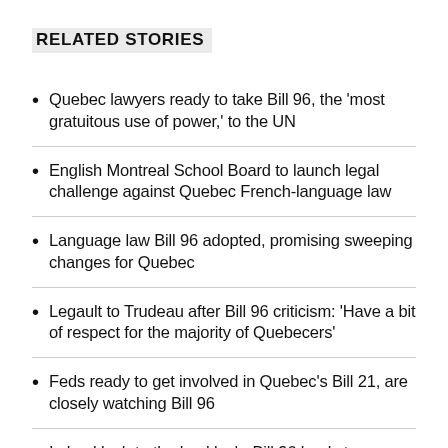RELATED STORIES
Quebec lawyers ready to take Bill 96, the 'most gratuitous use of power,' to the UN
English Montreal School Board to launch legal challenge against Quebec French-language law
Language law Bill 96 adopted, promising sweeping changes for Quebec
Legault to Trudeau after Bill 96 criticism: 'Have a bit of respect for the majority of Quebecers'
Feds ready to get involved in Quebec's Bill 21, are closely watching Bill 96
In backlash to the backlash, Bill 96 leads to